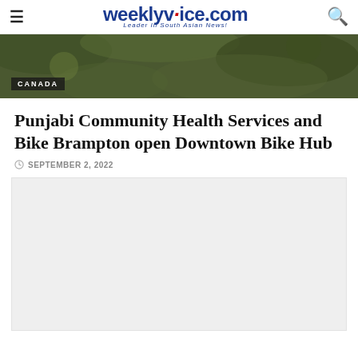weeklyvoice.com — Leader In South Asian News!
[Figure (photo): Hero image of a nature/outdoor scene with CANADA category badge overlay]
Punjabi Community Health Services and Bike Brampton open Downtown Bike Hub
SEPTEMBER 2, 2022
[Figure (photo): Article photograph (light gray placeholder)]